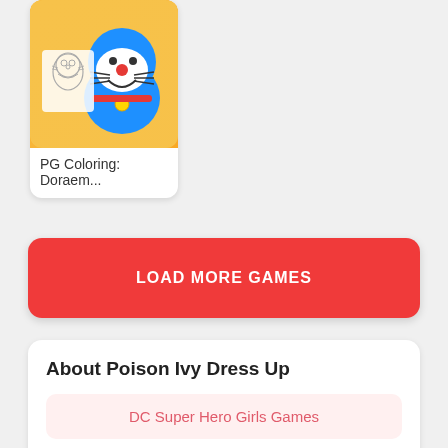[Figure (illustration): Doraemon cartoon character coloring app icon with orange/yellow background, showing Doraemon and a line drawing sketch]
PG Coloring: Doraem...
LOAD MORE GAMES
About Poison Ivy Dress Up
DC Super Hero Girls Games
Cartoon Network Games
Dress Up Games